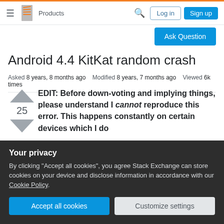Stack Overflow navigation: hamburger menu, logo, Products, search, Log in, Sign up
Ask Question
Android 4.4 KitKat random crash
Asked 8 years, 8 months ago   Modified 8 years, 7 months ago   Viewed 6k times
EDIT: Before down-voting and implying things, please understand I cannot reproduce this error. This happens constantly on certain devices which I do
Your privacy
By clicking "Accept all cookies", you agree Stack Exchange can store cookies on your device and disclose information in accordance with our Cookie Policy.
Accept all cookies   Customize settings